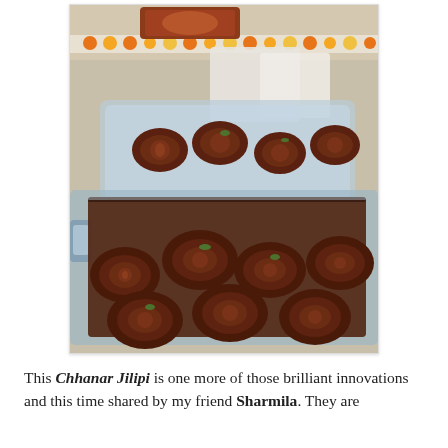[Figure (photo): Photo of Chhanar Jilipi – dark brown spiral-shaped fried cheese sweets in two glass baking dishes, with colorful decorations visible in the background]
This Chhanar Jilipi is one more of those brilliant innovations and this time shared by my friend Sharmila. They are